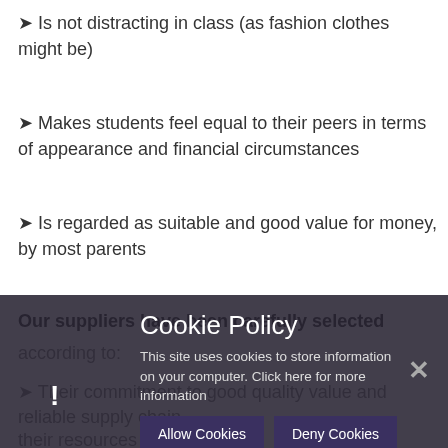➤ Is not distracting in class (as fashion clothes might be)
➤ Makes students feel equal to their peers in terms of appearance and financial circumstances
➤ Is regarded as suitable and good value for money, by most parents
Our suppliers have been carefully selected according to:
➤ Their commitment to good quality, value and reliability for supply chain
Cookie Policy
This site uses cookies to store information on your computer. Click here for more information